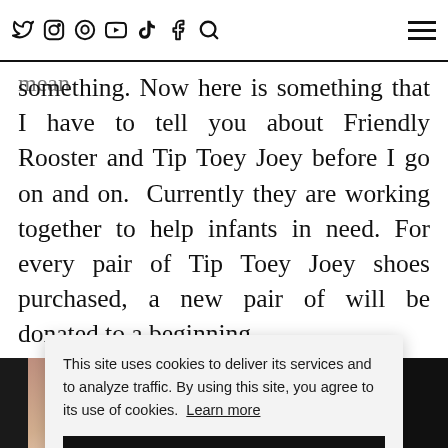Those that know me, knows that I'm a shoe connoisseur and those words have to mean [social icons: Twitter, Instagram, Pinterest, YouTube, TikTok, Facebook, Search] [hamburger menu]
something. Now here is something that I have to tell you about Friendly Rooster and Tip Toey Joey before I go on and on.  Currently they are working together to help infants in need. For every pair of Tip Toey Joey shoes purchased, a new pair of will be donated to a beginning [partially visible] es. I j
[Figure (photo): Dark image strip at the bottom of the page showing partial view of shoes/feet]
This site uses cookies to deliver its services and to analyze traffic. By using this site, you agree to its use of cookies. Learn more
OK